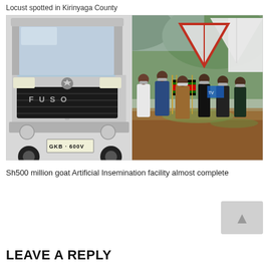Locust spotted in Kirinyaga County
[Figure (photo): A white Fuso truck (license plate GKB 600V) in the foreground, with a group of people in masks standing in the background near white and red tents, one person holding a Kenya flag. Outdoor event on reddish-brown ground.]
Sh500 million goat Artificial Insemination facility almost complete
LEAVE A REPLY